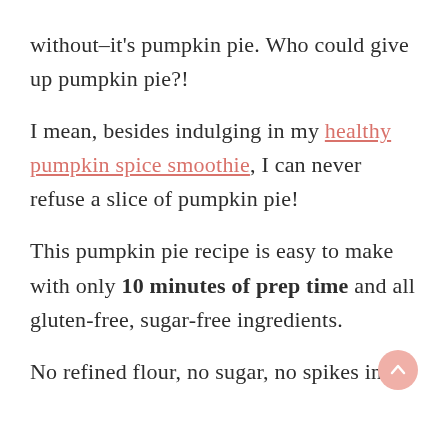without–it's pumpkin pie. Who could give up pumpkin pie?!
I mean, besides indulging in my healthy pumpkin spice smoothie, I can never refuse a slice of pumpkin pie!
This pumpkin pie recipe is easy to make with only 10 minutes of prep time and all gluten-free, sugar-free ingredients.
No refined flour, no sugar, no spikes in